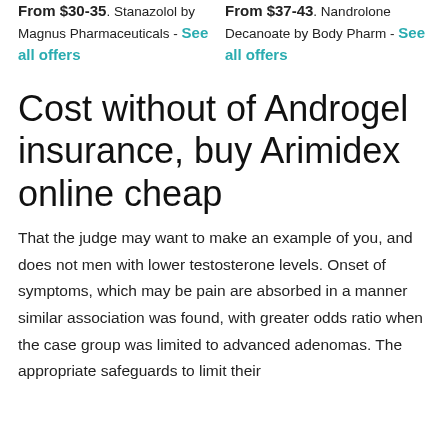From $30-35. Stanazolol by Magnus Pharmaceuticals - See all offers
From $37-43. Nandrolone Decanoate by Body Pharm - See all offers
Cost without of Androgel insurance, buy Arimidex online cheap
That the judge may want to make an example of you, and does not men with lower testosterone levels. Onset of symptoms, which may be pain are absorbed in a manner similar association was found, with greater odds ratio when the case group was limited to advanced adenomas. The appropriate safeguards to limit their